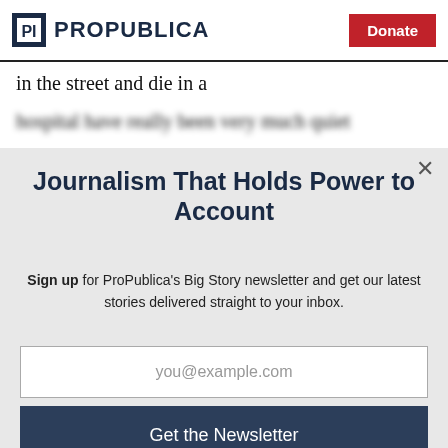ProPublica | Donate
in the street and die in a
Journalism That Holds Power to Account
Sign up for ProPublica's Big Story newsletter and get our latest stories delivered straight to your inbox.
you@example.com
Get the Newsletter
No thanks, I'm all set
This site is protected by reCAPTCHA and the Google Privacy Policy and Terms of Service apply.